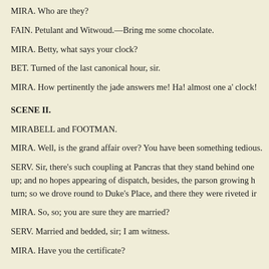MIRA. Who are they?
FAIN. Petulant and Witwoud.—Bring me some chocolate.
MIRA. Betty, what says your clock?
BET. Turned of the last canonical hour, sir.
MIRA. How pertinently the jade answers me! Ha! almost one a' clock!
SCENE II.
MIRABELL and FOOTMAN.
MIRA. Well, is the grand affair over? You have been something tedious.
SERV. Sir, there's such coupling at Pancras that they stand behind one another, as 'twere in a country dance. Ours was the last couple to lead up; and no hopes appearing of dispatch, besides, the parson growing hoarse, we were afraid his lungs would have failed before it came to our turn; so we drove round to Duke's Place, and there they were riveted in a trice.
MIRA. So, so; you are sure they are married?
SERV. Married and bedded, sir; I am witness.
MIRA. Have you the certificate?